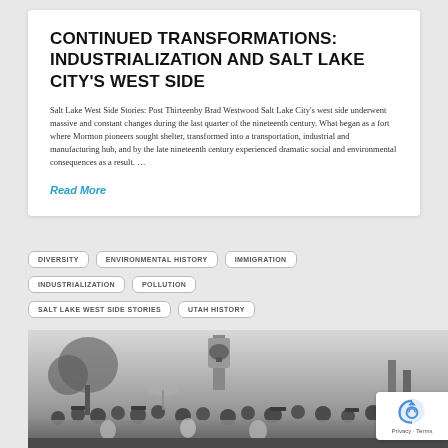CONTINUED TRANSFORMATIONS: INDUSTRIALIZATION AND SALT LAKE CITY'S WEST SIDE
Salt Lake West Side Stories: Post Thirteenby Brad Westwood Salt Lake City's west side underwent massive and constant changes during the last quarter of the nineteenth century. What began as a fort where Mormon pioneers sought shelter, transformed into a transportation, industrial and manufacturing hub, and by the late nineteenth century experienced dramatic social and environmental consequences as a result. …
Read More
DIVERSITY
ENVIRONMENTAL HISTORY
IMMIGRATION
INDUSTRIALIZATION
POLLUTION
SALT LAKE WEST SIDE STORIES
UTAH HISTORY
[Figure (photo): Black and white historical photograph showing a crowd of people at an outdoor gathering, with trees, a large bell visible on a structure, and people wearing early twentieth century clothing including hats.]